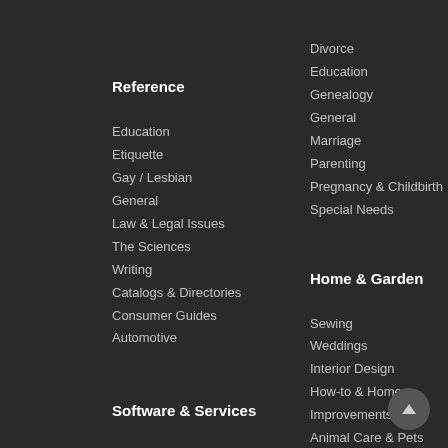Reference
Education
Etiquette
Gay / Lesbian
General
Law & Legal Issues
The Sciences
Writing
Catalogs & Directories
Consumer Guides
Automotive
Software & Services
Anti Adware / Spyware
Divorce
Education
Genealogy
General
Marriage
Parenting
Pregnancy & Childbirth
Special Needs
Home & Garden
Sewing
Weddings
Interior Design
How-to & Home
Improvements
Animal Care & Pets